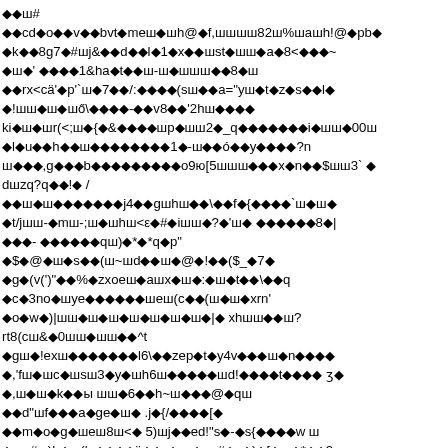Garbled/corrupted text with diamond replacement characters interspersed throughout multiple lines of encoded or corrupted document content.